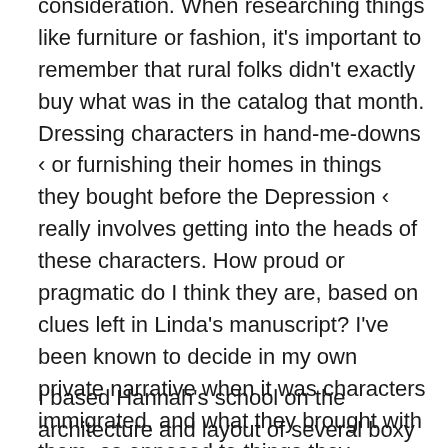consideration. When researching things like furniture or fashion, it's important to remember that rural folks didn't exactly buy what was in the catalog that month. Dressing characters in hand-me-downs ‹ or furnishing their homes in things they bought before the Depression ‹ really involves getting into the heads of these characters. How proud or pragmatic do I think they are, based on clues left in Linda's manuscript? I've been known to decide in my own private narrative when it was characters immigrated, and what they brought with them, as opposed to things they accumulated new.
I based Hannah's school on the architecture and layout of several boxy schoolhouses that would have seen use during the story's timeframe; I had to assign her grade a classroom, and then remember what side the windows were on (as well as what time of day it was) for each